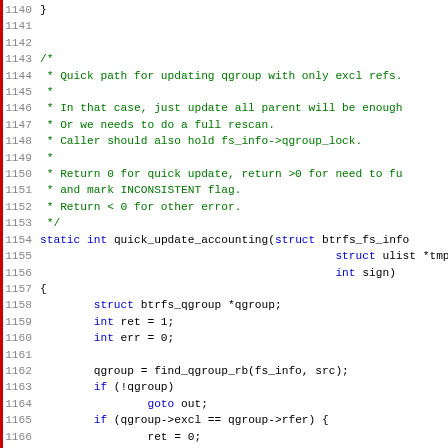Source code listing lines 1140-1171, C code for quick_update_accounting function with comments